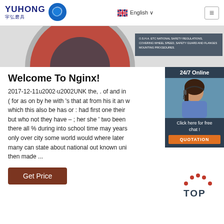[Figure (logo): YUHONG 宇弘磨具 logo with blue wave icon]
English ∨
[Figure (photo): Partial view of grinding/abrasive wheel product with safety text overlay]
[Figure (photo): 24/7 Online chat widget with woman wearing headset, 'Click here for free chat!' text and QUOTATION button]
Welcome To Nginx!
2017-12-11u2002·u2002UNK the, . of and in ( for as on by he with 's that at from his it an w which this also be has or : had first one their but who not they have – ; her she ' two been there all % during into school time may years only over city some world would where later many can state about national out known uni then made ...
Get Price
[Figure (other): TOP navigation button with dot arch icon]